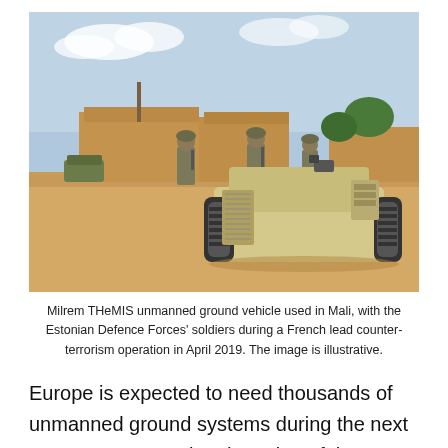[Figure (photo): Milrem THeMIS unmanned ground vehicle on a sandy terrain with soldiers in the background during a military operation in Mali, April 2019.]
Milrem THeMIS unmanned ground vehicle used in Mali, with the Estonian Defence Forces' soldiers during a French lead counter-terrorism operation in April 2019. The image is illustrative.
Europe is expected to need thousands of unmanned ground systems during the next 10-15 years, growing the value of the market into billions of euros. With seven participating nations and key industrial players, the